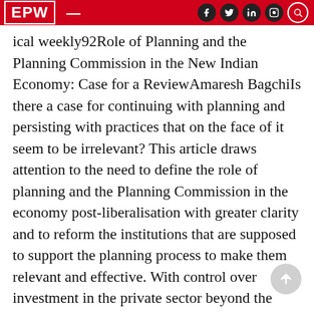EPW — [social icons]
ical weekly92Role of Planning and the Planning Commission in the New Indian Economy: Case for a ReviewAmaresh BagchiIs there a case for continuing with planning and persisting with practices that on the face of it seem to be irrelevant? This article draws attention to the need to define the role of planning and the Planning Commission in the economy post-liberalisation with greater clarity and to reform the institutions that are supposed to support the planning process to make them relevant and effective. With control over investment in the private sector beyond the purview of the Planning Commission, development planning can at best be indicative.The issue is not whether planning is needed – it surely is – but whether the most